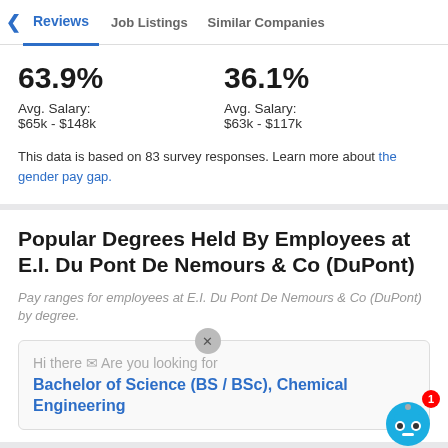Reviews | Job Listings | Similar Companies
63.9%
Avg. Salary:
$65k - $148k
36.1%
Avg. Salary:
$63k - $117k
This data is based on 83 survey responses. Learn more about the gender pay gap.
Popular Degrees Held By Employees at E.I. Du Pont De Nemours & Co (DuPont)
Pay ranges for employees at E.I. Du Pont De Nemours & Co (DuPont) by degree.
Hi there ✋ Are you looking for
Bachelor of Science (BS / BSc), Chemical Engineering